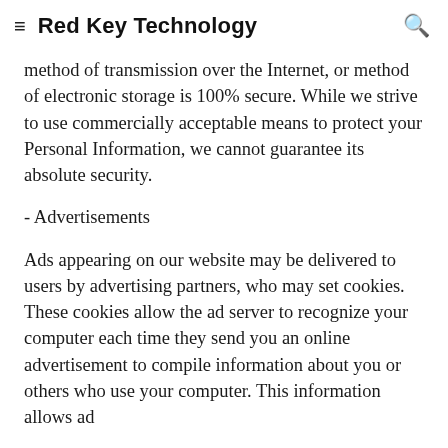≡  Red Key Technology  🔍
method of transmission over the Internet, or method of electronic storage is 100% secure. While we strive to use commercially acceptable means to protect your Personal Information, we cannot guarantee its absolute security.
- Advertisements
Ads appearing on our website may be delivered to users by advertising partners, who may set cookies. These cookies allow the ad server to recognize your computer each time they send you an online advertisement to compile information about you or others who use your computer. This information allows ad